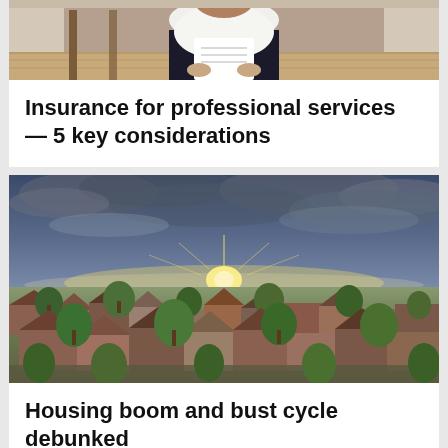[Figure (photo): Photo of a person in white shirt sitting on a wooden chair, reading or holding papers, with wooden floor visible in background. Cropped at top.]
Insurance for professional services — 5 key considerations
[Figure (photo): Aerial drone photograph of a suburban neighborhood with houses and trees, with dramatic sunset sky featuring golden light on the horizon and dramatic clouds above.]
Housing boom and bust cycle debunked